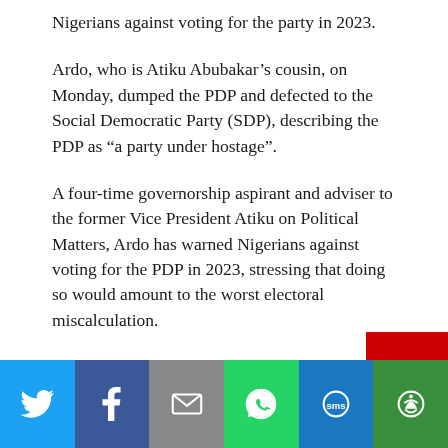Nigerians against voting for the party in 2023.
Ardo, who is Atiku Abubakar’s cousin, on Monday, dumped the PDP and defected to the Social Democratic Party (SDP), describing the PDP as “a party under hostage”.
A four-time governorship aspirant and adviser to the former Vice President Atiku on Political Matters, Ardo has warned Nigerians against voting for the PDP in 2023, stressing that doing so would amount to the worst electoral miscalculation.
[Figure (infographic): Social media share bar with icons for Twitter, Facebook, Email, WhatsApp, SMS, and More (green)]